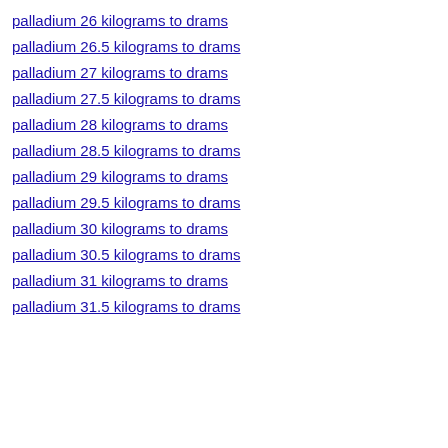palladium 26 kilograms to drams
palladium 26.5 kilograms to drams
palladium 27 kilograms to drams
palladium 27.5 kilograms to drams
palladium 28 kilograms to drams
palladium 28.5 kilograms to drams
palladium 29 kilograms to drams
palladium 29.5 kilograms to drams
palladium 30 kilograms to drams
palladium 30.5 kilograms to drams
palladium 31 kilograms to drams
palladium 31.5 kilograms to drams